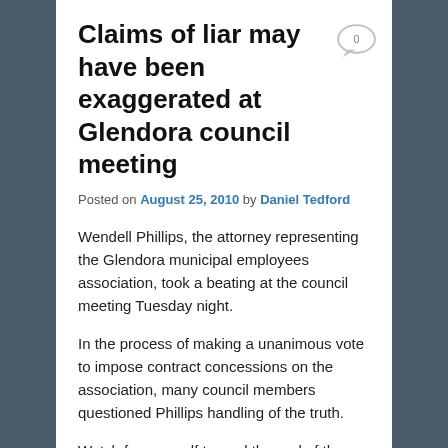Claims of liar may have been exaggerated at Glendora council meeting
Posted on August 25, 2010 by Daniel Tedford
Wendell Phillips, the attorney representing the Glendora municipal employees association, took a beating at the council meeting Tuesday night.
In the process of making a unanimous vote to impose contract concessions on the association, many council members questioned Phillips handling of the truth.
Watch for yourself toward the end of the council meeting video.
But Phillips may not have been fibbing about the motivation behind concessions made by the police officers association and police managers association last year.